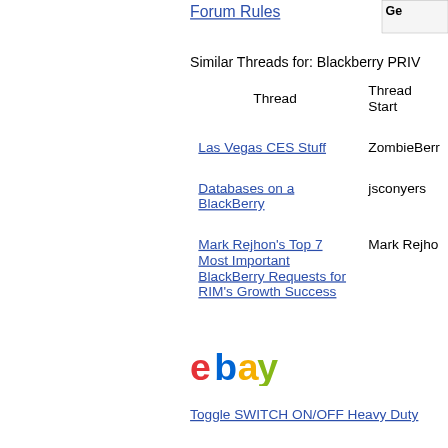Forum Rules
Similar Threads for: Blackberry PRIV
| Thread | Thread Starter |
| --- | --- |
| Las Vegas CES Stuff | ZombieBerry |
| Databases on a BlackBerry | jsconyers |
| Mark Rejhon's Top 7 Most Important BlackBerry Requests for RIM's Growth Success | Mark Rejhon |
[Figure (logo): eBay logo in red, blue, yellow, green lettering]
Toggle SWITCH ON/OFF Heavy Duty